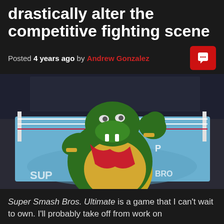drastically alter the competitive fighting scene
Posted 4 years ago by Andrew Gonzalez
[Figure (photo): King K. Rool character from Super Smash Bros. Ultimate standing in a boxing ring with Super Smash Bros. logo visible on the floor]
Super Smash Bros. Ultimate is a game that I can't wait to own. I'll probably take off from work on